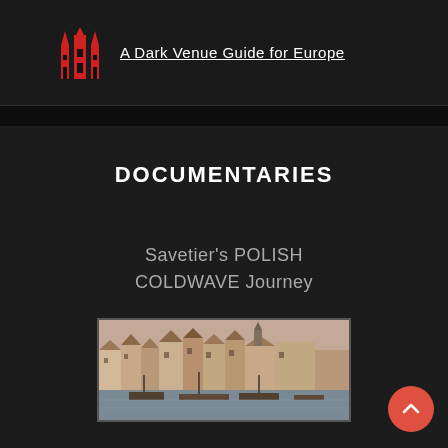A Dark Venue Guide for Europe
DOCUMENTARIES
Savetier's POLISH COLDWAVE Journey
[Figure (photo): Photograph of a European waterfront city (likely Gdansk, Poland) with historic colorful buildings along the waterfront and boats moored in the foreground, shown in a desaturated/sepia tone.]